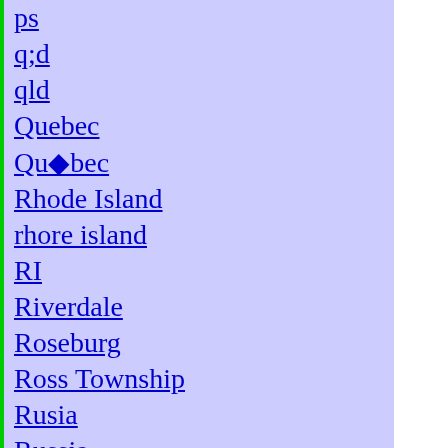ps
q;d
qld
Quebec
Québec
Rhode Island
rhore island
RI
Riverdale
Roseburg
Ross Township
Rusia
Russia
S.C.
Sacramento
San Bernardino
San Diego
San Francisco
San Luis Obispo
San Mateo
San Mateo...